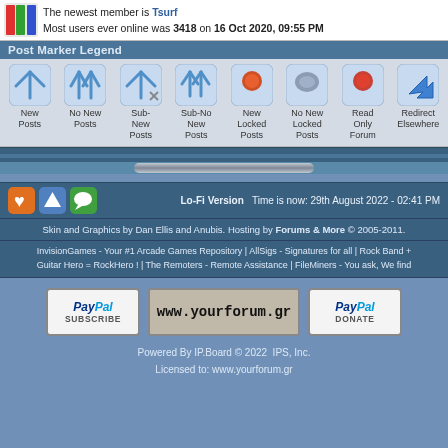The newest member is Tsurf. Most users ever online was 3418 on 16 Oct 2020, 09:55 PM
Post Marker Legend
[Figure (infographic): Post marker legend icons: New Posts, No New Posts, Sub-New Posts, Sub-No New Posts, New Locked Posts, No New Locked Posts, Read Only Forum, Redirect Elsewhere]
Lo-Fi Version   Time is now: 29th August 2022 - 02:41 PM
Skin and Graphics by Dan Ellis and Anubis. Hosting by Forums & More © 2005-2011.
InvisionGames - Your #1 Arcade Games Repository | AllSigs - Signatures for all | Rock Band + Guitar Hero = RockHero ! | The Remoters - Remote Assistance | FileMiners - You ask, We find
[Figure (logo): PayPal Subscribe button]
[Figure (logo): www.yourforum.gr button]
[Figure (logo): PayPal Donate button]
Powered By IP.Board © 2022  IPS, Inc. Licensed to: www.yourforum.gr